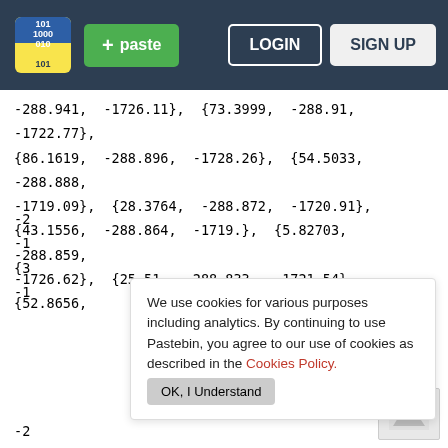Pastebin navigation bar with logo, + paste button, LOGIN, SIGN UP
-288.941,  -1726.11},  {73.3999,  -288.91,  -1722.77},
{86.1619,  -288.896,  -1728.26},  {54.5033,  -288.888,
-1719.09},  {28.3764,  -288.872,  -1720.91},
{43.1556,  -288.864,  -1719.},  {5.82703,  -288.859,
-1726.62},  {25.51,  -288.833,  -1721.54},  {52.8656,
-2
-1
{3
-1
We use cookies for various purposes including analytics. By continuing to use Pastebin, you agree to our use of cookies as described in the Cookies Policy.   OK, I Understand
-2
-1
{8
Not a member of Pastebin yet?
Sign Up, it unlocks many cool features!
-1719.04},  {69.9179,  -288.582,  -1721.93},
{11.0077,  -288.519,  -1725.64},  {82.5693,  -288.439,
-1726.7},  {110.078,  -288.418,  -1746.33},  {24.35,
-288.417,  -1722.11},  {111.385,  -288.414,
-1747.77},  {69.2034,  -288.414,  -1721.55}